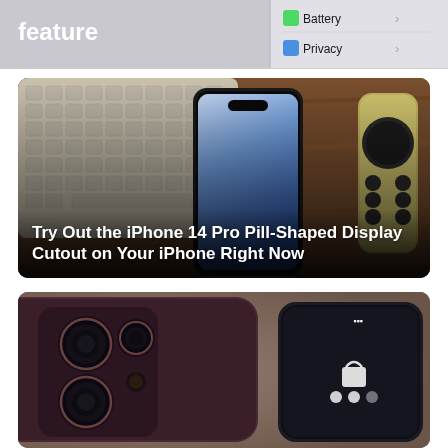[Figure (screenshot): iOS Settings menu partial screenshot showing Battery and Privacy options with a 'feature' label on the left side]
[Figure (photo): Photo of an iPhone 14 Pro being held in hand showing dynamic island pill-shaped cutout, with Apple keyboard and Apple TV remote visible on a wooden desk]
Try Out the iPhone 14 Pro Pill-Shaped Display Cutout on Your iPhone Right Now
[Figure (photo): Close-up render/photo of iPhone camera module with triple lens system in dark reddish-brown color and a second iPhone showing lock screen]